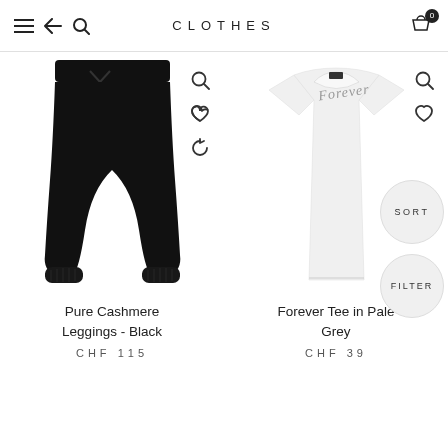CLOTHES
[Figure (photo): Black pure cashmere leggings product photo on white background]
Pure Cashmere Leggings - Black
CHF 115
[Figure (photo): White fitted t-shirt with 'Forever' script embellishment at neckline, product photo]
Forever Tee in Pale Grey
CHF 39